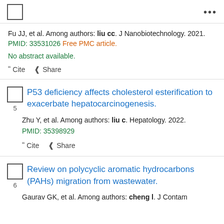...
Fu JJ, et al. Among authors: liu cc. J Nanobiotechnology. 2021. PMID: 33531026 Free PMC article. No abstract available.
Cite  Share
P53 deficiency affects cholesterol esterification to exacerbate hepatocarcinogenesis.
5
Zhu Y, et al. Among authors: liu c. Hepatology. 2022. PMID: 35398929
Cite  Share
Review on polycyclic aromatic hydrocarbons (PAHs) migration from wastewater.
6
Gaurav GK, et al. Among authors: cheng l. J Contam